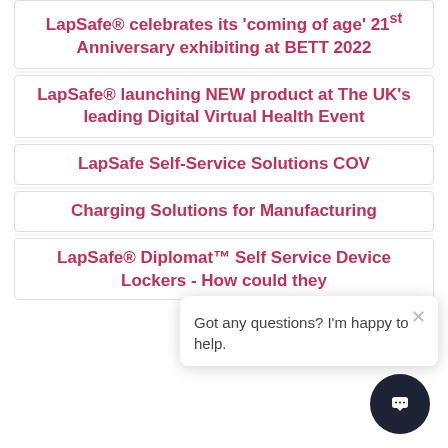LapSafe® celebrates its 'coming of age' 21st Anniversary exhibiting at BETT 2022
LapSafe® launching NEW product at The UK's leading Digital Virtual Health Event
LapSafe Self-Service Solutions COV...
Charging Solutions for Manufacturing
LapSafe® Diplomat™ Self Service Device Lockers - How could they